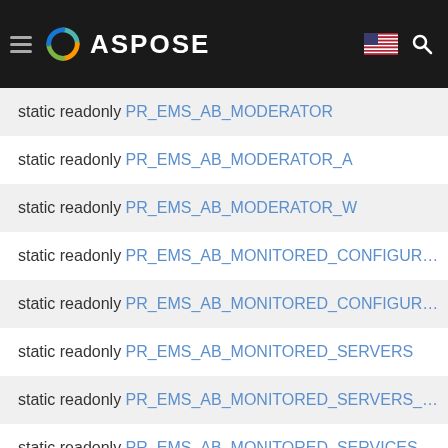ASPOSE navigation header
static readonly PR_EMS_AB_MODERATOR
static readonly PR_EMS_AB_MODERATOR_A
static readonly PR_EMS_AB_MODERATOR_W
static readonly PR_EMS_AB_MONITORED_CONFIGUR...
static readonly PR_EMS_AB_MONITORED_CONFIGUR...
static readonly PR_EMS_AB_MONITORED_SERVERS
static readonly PR_EMS_AB_MONITORED_SERVERS_...
static readonly PR_EMS_AB_MONITORED_SERVICES